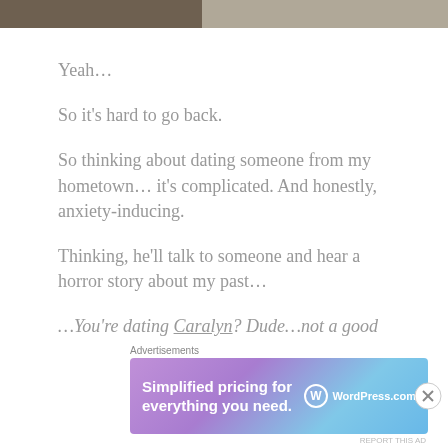[Figure (photo): Partial photo strip at top of page showing a person, cropped]
Yeah…
So it's hard to go back.
So thinking about dating someone from my hometown… it's complicated. And honestly, anxiety-inducing.
Thinking, he'll talk to someone and hear a horror story about my past…
…You're dating Caralyn? Dude…not a good idea. She's a
[Figure (screenshot): WordPress.com advertisement banner reading 'Simplified pricing for everything you need.' with WordPress.com logo]